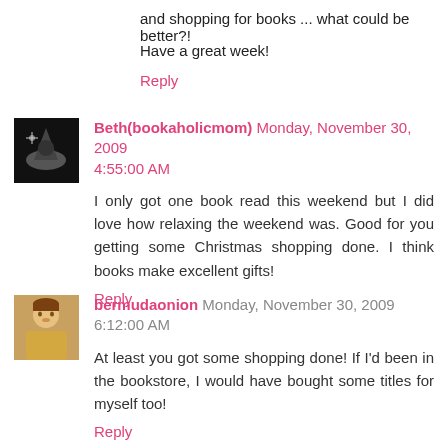and shopping for books ... what could be better?!
Have a great week!
Reply
Beth(bookaholicmom) Monday, November 30, 2009 4:55:00 AM
I only got one book read this weekend but I did love how relaxing the weekend was. Good for you getting some Christmas shopping done. I think books make excellent gifts!
Reply
bermudaonion Monday, November 30, 2009 6:12:00 AM
At least you got some shopping done! If I'd been in the bookstore, I would have bought some titles for myself too!
Reply